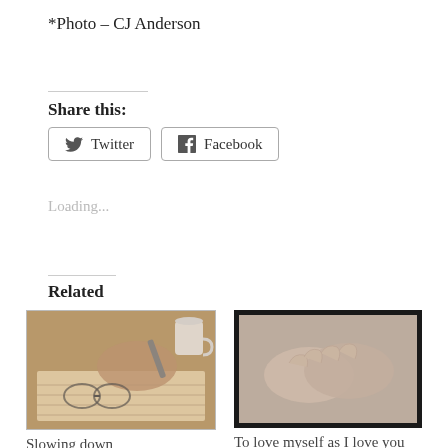*Photo – CJ Anderson
Share this:
Twitter  Facebook
Loading...
Related
[Figure (photo): Person writing in a journal with glasses and a coffee cup nearby, warm sepia tones]
Slowing down
September 6, 2018
In "Blog"
[Figure (photo): Two hands clasped together, muted beige/sepia tones with dark border frame]
To love myself as I love you
November 12, 2019
In "Birth control"